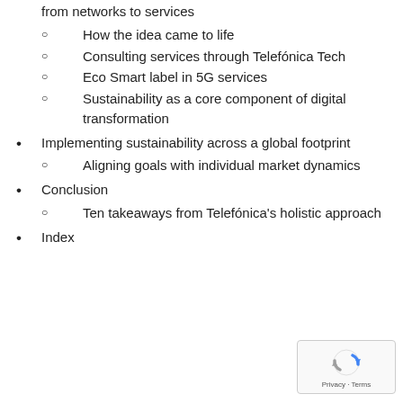from networks to services
How the idea came to life
Consulting services through Telefónica Tech
Eco Smart label in 5G services
Sustainability as a core component of digital transformation
Implementing sustainability across a global footprint
Aligning goals with individual market dynamics
Conclusion
Ten takeaways from Telefónica's holistic approach
Index